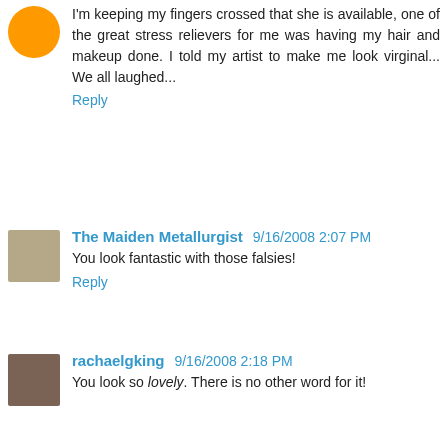I'm keeping my fingers crossed that she is available, one of the great stress relievers for me was having my hair and makeup done. I told my artist to make me look virginal... We all laughed...
Reply
The Maiden Metallurgist 9/16/2008 2:07 PM
You look fantastic with those falsies!
Reply
rachaelgking 9/16/2008 2:18 PM
You look so lovely. There is no other word for it!
And yes, your face definitely does look decidedly... rounder... in the other picture. Teh oddness.
Definitely go with sparkles and glitter and falsies! Love it!
Reply